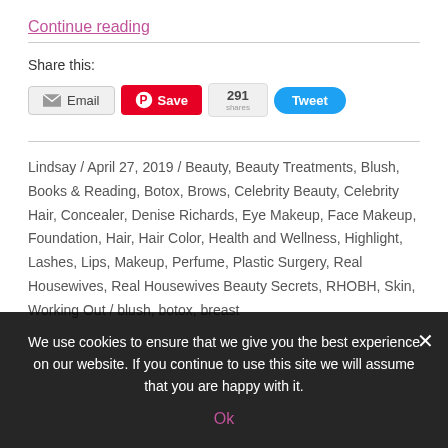Continue reading
Share this:
Email   Save   291   Tweet
Lindsay / April 27, 2019 / Beauty, Beauty Treatments, Blush, Books & Reading, Botox, Brows, Celebrity Beauty, Celebrity Hair, Concealer, Denise Richards, Eye Makeup, Face Makeup, Foundation, Hair, Hair Color, Health and Wellness, Highlight, Lashes, Lips, Makeup, Perfume, Plastic Surgery, Real Housewives, Real Housewives Beauty Secrets, RHOBH, Skin, Working Out / blush, botox, breast...
We use cookies to ensure that we give you the best experience on our website. If you continue to use this site we will assume that you are happy with it.
Ok